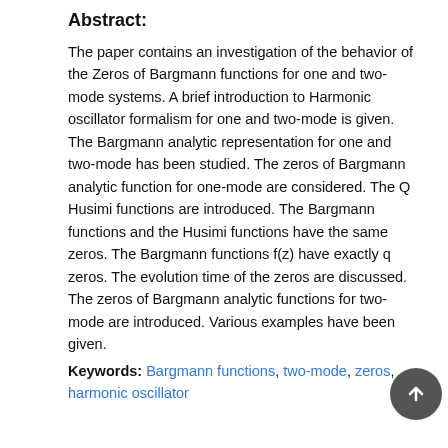Abstract:
The paper contains an investigation of the behavior of the Zeros of Bargmann functions for one and two-mode systems. A brief introduction to Harmonic oscillator formalism for one and two-mode is given. The Bargmann analytic representation for one and two-mode has been studied. The zeros of Bargmann analytic function for one-mode are considered. The Q Husimi functions are introduced. The Bargmann functions and the Husimi functions have the same zeros. The Bargmann functions f(z) have exactly q zeros. The evolution time of the zeros are discussed. The zeros of Bargmann analytic functions for two-mode are introduced. Various examples have been given.
Keywords: Bargmann functions, two-mode, zeros, harmonic oscillator